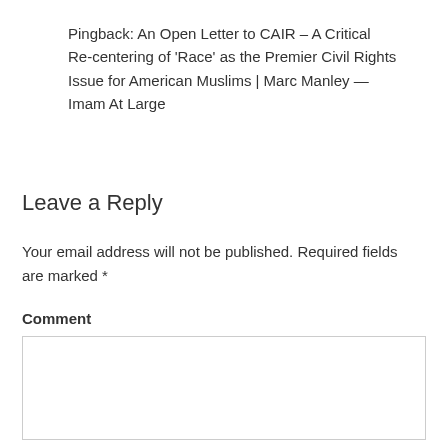Pingback: An Open Letter to CAIR – A Critical Re-centering of 'Race' as the Premier Civil Rights Issue for American Muslims | Marc Manley — Imam At Large
Leave a Reply
Your email address will not be published. Required fields are marked *
Comment